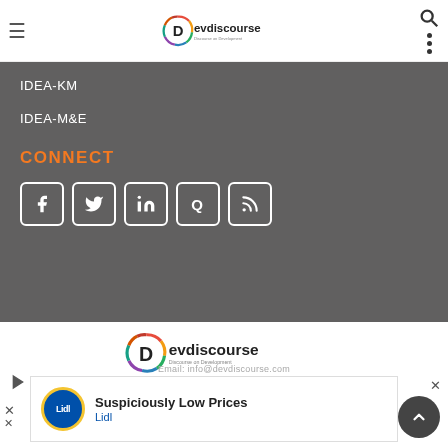Devdiscourse — Discourse on Development (header logo)
IDEA-KM
IDEA-M&E
CONNECT
[Figure (logo): Social media icon buttons: Facebook, Twitter, LinkedIn, Quora, RSS]
[Figure (logo): Devdiscourse — Discourse on Development main logo]
Email: info@devdiscourse.com
[Figure (infographic): Lidl advertisement: Suspiciously Low Prices — Lidl]